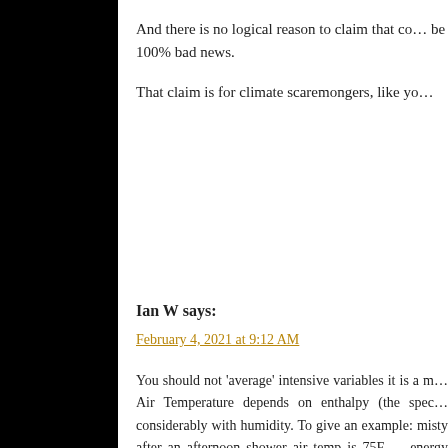And there is no logical reason to claim that co... be 100% bad news.

That claim is for climate scaremongers, like yo...
Ian W says:
February 4, 2021 at 9:12 AM
You should not 'average' intensive variables it is a m... Air Temperature depends on enthalpy (the spec... considerably with humidity. To give an example: misty after an afternoon shower air temp is 75F ... energy content of that air is TWICE that of a simil... Arizona desert at 100F and close to 0% humidity... wrong metric, although that is what everyone talks... should be used is energy content in kilojoules per... does not absorb and re-emit temperature it re-emits e...